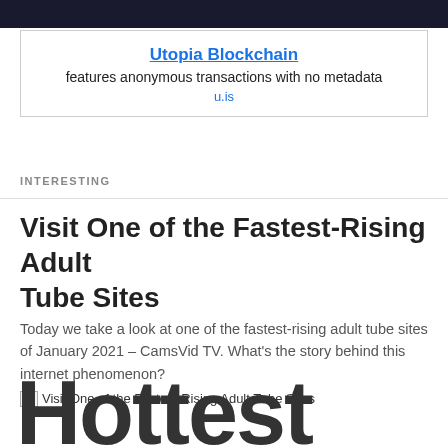[Figure (other): Advertisement box: Utopia Blockchain — features anonymous transactions with no metadata — u.is]
INTERESTING
Visit One of the Fastest-Rising Adult Tube Sites
Today we take a look at one of the fastest-rising adult tube sites of January 2021 – CamsVid TV. What's the story behind this internet phenomenon?
[Figure (photo): Broken image placeholder: Visit One of the Fastest-Rising Adult Tube Sites]
Hottest